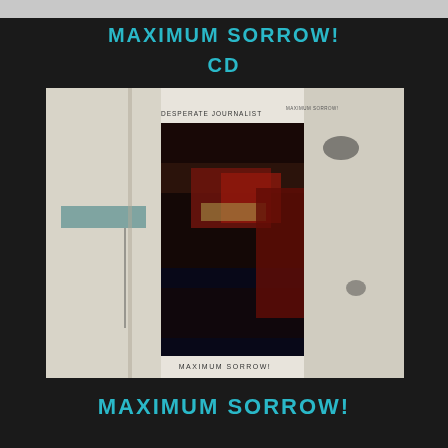MAXIMUM SORROW!
CD
[Figure (photo): Album cover artwork for 'Maximum Sorrow!' by Desperate Journalist. The cover shows a distorted, abstract photograph with dark reds, blues, and blacks. Text reads 'DESPERATE JOURNALIST' at the top and 'MAXIMUM SORROW!' at the bottom of the inner image.]
MAXIMUM SORROW!